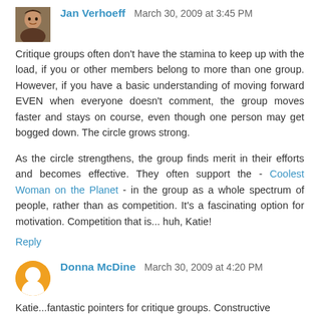Jan Verhoeff  March 30, 2009 at 3:45 PM
Critique groups often don't have the stamina to keep up with the load, if you or other members belong to more than one group. However, if you have a basic understanding of moving forward EVEN when everyone doesn't comment, the group moves faster and stays on course, even though one person may get bogged down. The circle grows strong.

As the circle strengthens, the group finds merit in their efforts and becomes effective. They often support the - Coolest Woman on the Planet - in the group as a whole spectrum of people, rather than as competition. It's a fascinating option for motivation. Competition that is... huh, Katie!
Reply
Donna McDine  March 30, 2009 at 4:20 PM
Katie...fantastic pointers for critique groups. Constructive